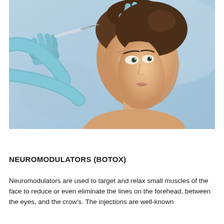[Figure (photo): A woman receiving facial injections from gloved hands. The practitioner wears blue latex gloves and holds a syringe near the forehead and eye area of the woman, who has her hair pulled back. The background is light blue.]
NEUROMODULATORS (BOTOX)
Neuromodulators are used to target and relax small muscles of the face to reduce or even eliminate the lines on the forehead, between the eyes, and the crow's. The injections are well-known...